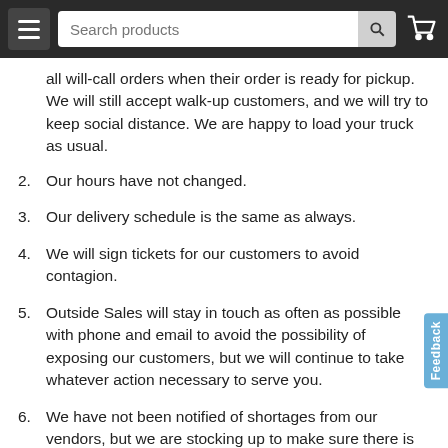Search products
all will-call orders when their order is ready for pickup. We will still accept walk-up customers, and we will try to keep social distance. We are happy to load your truck as usual.
2. Our hours have not changed.
3. Our delivery schedule is the same as always.
4. We will sign tickets for our customers to avoid contagion.
5. Outside Sales will stay in touch as often as possible with phone and email to avoid the possibility of exposing our customers, but we will continue to take whatever action necessary to serve you.
6. We have not been notified of shortages from our vendors, but we are stocking up to make sure there is no interruption in supply.
7. We don’t expect any disruptions, but we will continue to communicate any changes.